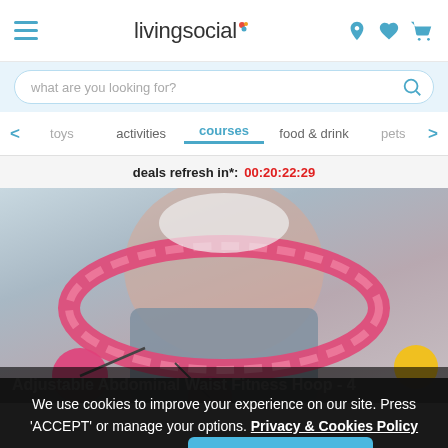livingsocial
what are you looking for?
toys
activities
courses
food & drink
pets
deals refresh in*: 00:20:22:29
[Figure (photo): Woman wearing a pink adjustable abdominal waist fitness hoop around her waist, with pink dumbbells attached by cables]
Adjustable Abdominal Waist Fitness Hoop - 4
We use cookies to improve your experience on our site. Press 'ACCEPT' or manage your options. Privacy & Cookies Policy
Options
ACCEPT